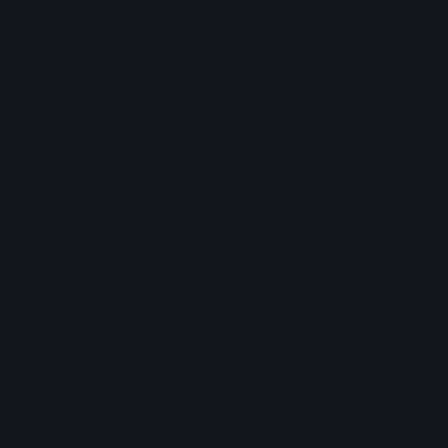| Date | Subscribers | Views | Videos |
| --- | --- | --- | --- |
| 7/23/2022
Sat | 6360000
--- | 2598645850
--- | 66
--- |
Embed
To embed this live counts widget on your own webpage? Simply copy and paste following code to your page and enjoy it wherever you want!
<iframe height="90px" width="310px" frameborder=
https://socialcounts.org/youtube-live-subscriber-co
About Roddy Ricch